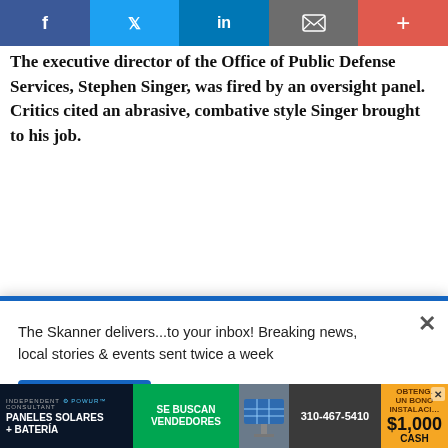[Figure (other): Social share bar with Facebook, Twitter, LinkedIn, email/envelope, and plus buttons]
The executive director of the Office of Public Defense Services, Stephen Singer, was fired by an oversight panel. Critics cited an abrasive, combative style Singer brought to his job.
[Figure (infographic): Yellow advertisement banner: FROM THE CREATOR OF RENT! tick, tick... with person silhouette]
[Figure (infographic): Newsletter signup popup: The Skanner delivers...to your inbox! Breaking news, local stories & events sent twice a week, with Subscribe button]
[Figure (infographic): Infolinks branded bar at bottom of newsletter popup]
[Figure (infographic): Wall Street Journal promotional banner: in Now: Only $4 per month, with OPEN button]
[Figure (infographic): Solar panel advertisement: PANELES SOLARES + BATERIA, SE BUSCAN VENDEDORES, 310-467-5410, $1,000 CASH]